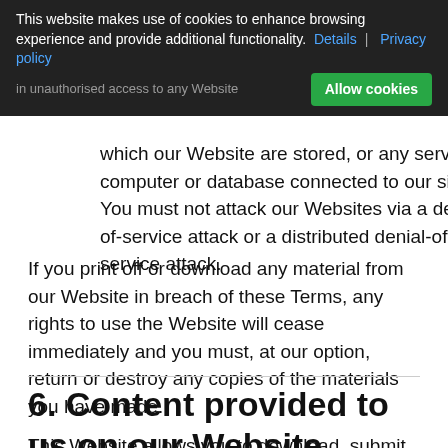This website makes use of cookies to enhance browsing experience and provide additional functionality. Details | Privacy policy | Allow cookies
unauthorised access to any Website which our Website are stored, or any server, computer or database connected to our site. You must not attack our Websites via a denial-of-service attack or a distributed denial-of service attack.
If you print off or download any material from our Website in breach of these Terms, any rights to use the Website will cease immediately and you must, at our option, return or destroy any copies of the materials you have made.
6. Content provided to us on our Website
This Website allows you to download, submit, send and receive content. You are solely responsible for all electronic communications and content you download